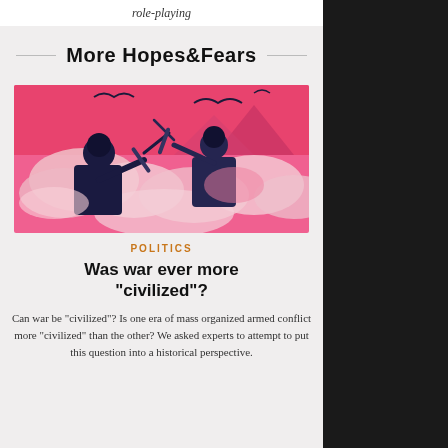role-playing
More Hopes&Fears
[Figure (illustration): Stylized illustration in pink and dark blue/navy tones showing two soldiers or warriors in combat, with dramatic clouds in the background.]
POLITICS
Was war ever more "civilized"?
Can war be “civilized”? Is one era of mass organized armed conflict more “civilized” than the other? We asked experts to attempt to put this question into a historical perspective.